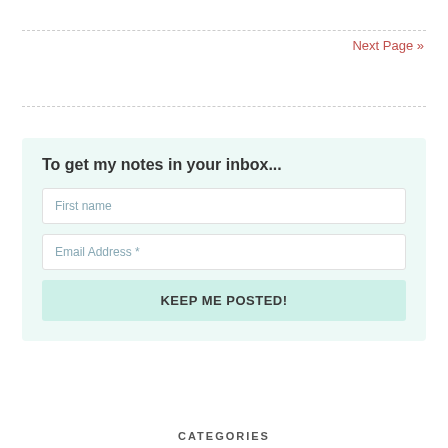Next Page »
To get my notes in your inbox...
First name
Email Address *
KEEP ME POSTED!
CATEGORIES